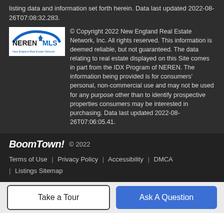listing data and information set forth herein. Data last updated 2022-08-26T07:08:32.283.
[Figure (logo): NEREN MLS - New England Real Estate Network logo]
© Copyright 2022 New England Real Estate Network, Inc. All rights reserved. This information is deemed reliable, but not guaranteed. The data relating to real estate displayed on this Site comes in part from the IDX Program of NEREN. The information being provided is for consumers' personal, non-commercial use and may not be used for any purpose other than to identify prospective properties consumers may be interested in purchasing. Data last updated 2022-08-26T07:06:05.41.
BoomTown! © 2022
Terms of Use | Privacy Policy | Accessibility | DMCA | Listings Sitemap
Take a Tour    Ask A Question